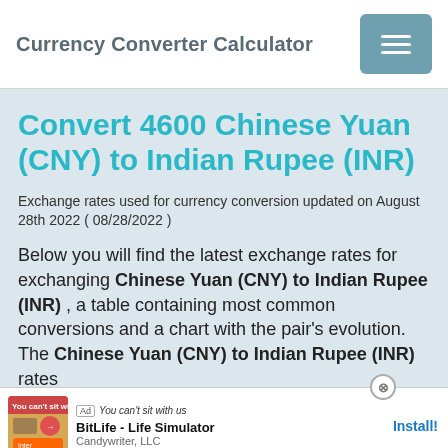Currency Converter Calculator
Convert 4600 Chinese Yuan (CNY) to Indian Rupee (INR)
Exchange rates used for currency conversion updated on August 28th 2022 ( 08/28/2022 )
Below you will find the latest exchange rates for exchanging Chinese Yuan (CNY) to Indian Rupee (INR) , a table containing most common conversions and a chart with the pair's evolution. The Chinese Yuan (CNY) to Indian Rupee (INR) rates ... anced techno... Check ...
[Figure (screenshot): Advertisement overlay showing 'You can't sit with us' banner ad for BitLife - Life Simulator by Candywriter, LLC with an Install! button]